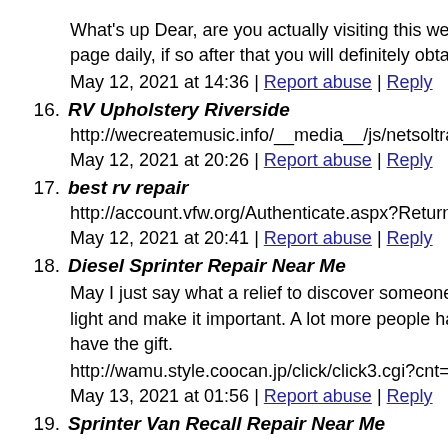What's up Dear, are you actually visiting this web page daily, if so after that you will definitely obtain good know
May 12, 2021 at 14:36 | Report abuse | Reply
16. RV Upholstery Riverside
http://wecreatemusic.info/__media__/js/netsoltrademark.php?d
May 12, 2021 at 20:26 | Report abuse | Reply
17. best rv repair
http://account.vfw.org/Authenticate.aspx?ReturnUrl=https://oc
May 12, 2021 at 20:41 | Report abuse | Reply
18. Diesel Sprinter Repair Near Me
May I just say what a relief to discover someone who genuinel light and make it important. A lot more people have to read thi have the gift.
http://wamu.style.coocan.jp/click/click3.cgi?cnt=counter&url=
May 13, 2021 at 01:56 | Report abuse | Reply
19. Sprinter Van Recall Repair Near Me